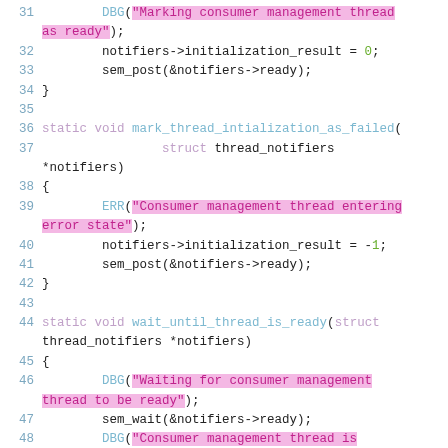[Figure (screenshot): Source code listing in C, lines 31-49, showing functions mark_thread_intialization_as_failed and wait_until_thread_is_ready with debug/error macros and semaphore operations. Pink highlighting on string literals.]